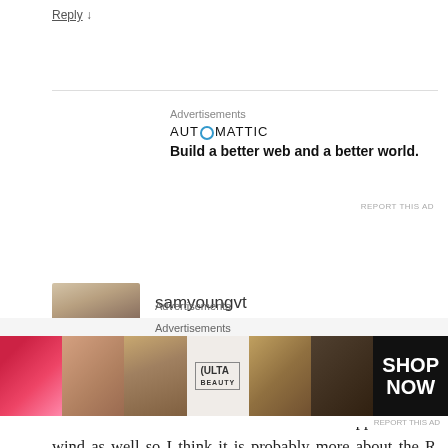Reply ↓
[Figure (infographic): Automattic advertisement: logo and tagline 'Build a better web and a better world.']
REPORT THIS AD
[Figure (photo): User avatar photo - sepia toned portrait]
samyoungvt
November 23, 2016 at 1:28 pm
I consider both Marcotte and Viens to be opponents of wind as well so I think it is probably more about the R than anything else. Has that district ever been represented by a Democrat in Vermont's history might be a bigger question than who was or was not a bigger opponent of wind
Advertisements
[Figure (photo): Ulta Beauty advertisement banner with makeup/beauty imagery and 'SHOP NOW' text]